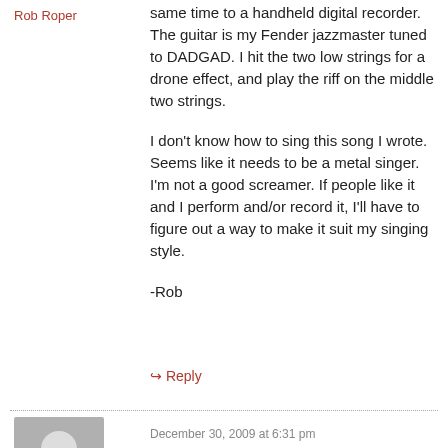Rob Roper
same time to a handheld digital recorder. The guitar is my Fender jazzmaster tuned to DADGAD. I hit the two low strings for a drone effect, and play the riff on the middle two strings.

I don't know how to sing this song I wrote. Seems like it needs to be a metal singer. I'm not a good screamer. If people like it and I perform and/or record it, I'll have to figure out a way to make it suit my singing style.

-Rob
↳ Reply
December 30, 2009 at 6:31 pm
[Figure (illustration): Gray avatar placeholder icon showing a silhouette of a person]
It is rather interesting for me to read this